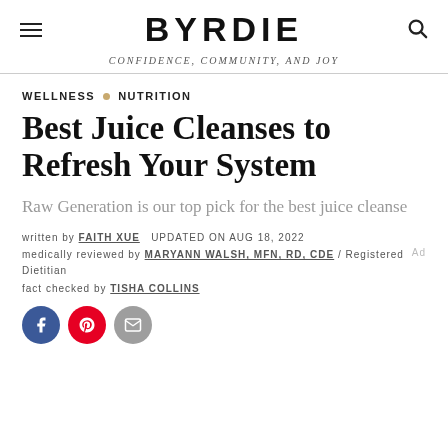BYRDIE — CONFIDENCE, COMMUNITY, AND JOY
WELLNESS · NUTRITION
Best Juice Cleanses to Refresh Your System
Raw Generation is our top pick for the best juice cleanse
written by FAITH XUE   UPDATED ON AUG 18, 2022
medically reviewed by MARYANN WALSH, MFN, RD, CDE / Registered Dietitian
fact checked by TISHA COLLINS